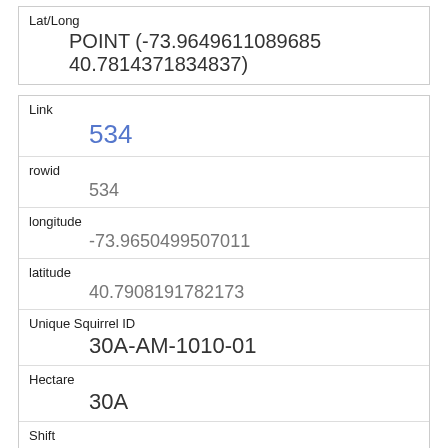| Field | Value |
| --- | --- |
| Lat/Long | POINT (-73.9649611089685 40.7814371834837) |
| Link | 534 |
| rowid | 534 |
| longitude | -73.9650499507011 |
| latitude | 40.7908191782173 |
| Unique Squirrel ID | 30A-AM-1010-01 |
| Hectare | 30A |
| Shift | AM |
| Date | 10102018 |